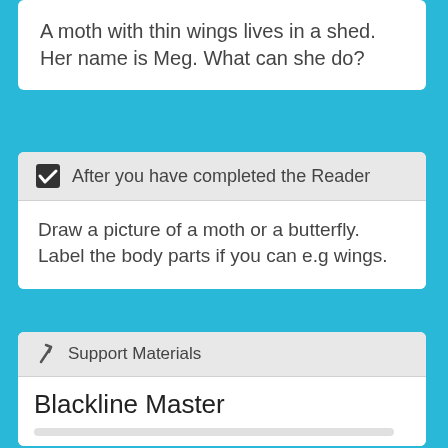A moth with thin wings lives in a shed. Her name is Meg. What can she do?
After you have completed the Reader
Draw a picture of a moth or a butterfly. Label the body parts if you can e.g wings.
Support Materials
Blackline Master